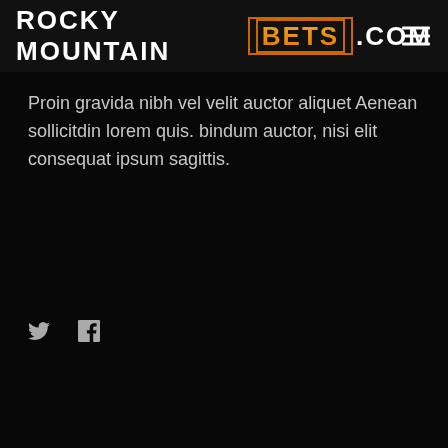ROCKY MOUNTAIN BETS .COM
Proin gravida nibh vel velit auctor aliquet Aenean sollicitdin lorem quis. bindum auctor, nisi elit consequat ipsum sagittis.
[Figure (other): Social media icons: Twitter bird icon and Facebook f icon]